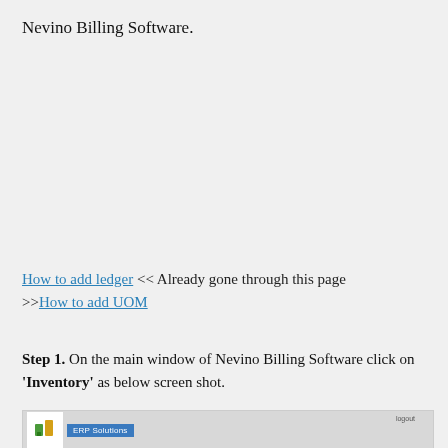Nevino Billing Software.
How to add ledger << Already gone through this page >>How to add UOM
Step 1. On the main window of Nevino Billing Software click on 'Inventory' as below screen shot.
[Figure (screenshot): Screenshot of Nevino Billing Software ERP Solutions header bar with logo and logout link]